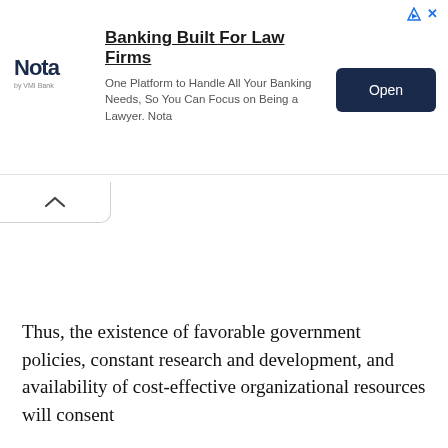[Figure (other): Advertisement banner for Nota banking platform for law firms. Shows Nota logo, headline 'Banking Built For Law Firms', description text, and an 'Open' button.]
Thus, the existence of favorable government policies, constant research and development, and availability of cost-effective organizational resources will consent